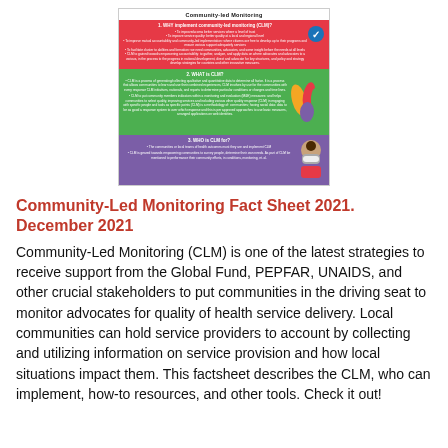[Figure (infographic): Thumbnail preview of the Community-led Monitoring fact sheet infographic showing three colored sections (red WHY, green WHAT, purple WHO) with icons and text.]
Community-Led Monitoring Fact Sheet 2021. December 2021
Community-Led Monitoring (CLM) is one of the latest strategies to receive support from the Global Fund, PEPFAR, UNAIDS, and other crucial stakeholders to put communities in the driving seat to monitor advocates for quality of health service delivery. Local communities can hold service providers to account by collecting and utilizing information on service provision and how local situations impact them. This factsheet describes the CLM, who can implement, how-to resources, and other tools. Check it out!